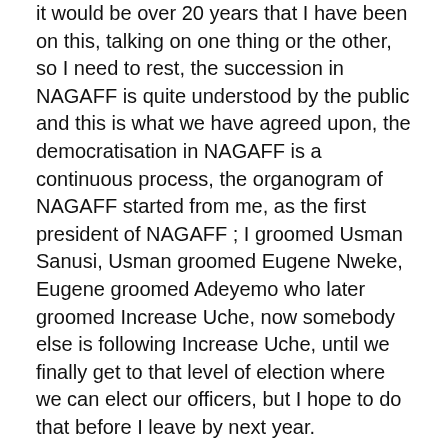it would be over 20 years that I have been on this, talking on one thing or the other,  so I need to rest, the succession in NAGAFF is quite understood by the public and this is what we have agreed upon, the democratisation in NAGAFF is a continuous process, the organogram of NAGAFF started from me,  as the first president of NAGAFF ; I groomed Usman Sanusi, Usman groomed Eugene Nweke, Eugene groomed Adeyemo who later groomed Increase Uche, now somebody else is following Increase Uche,  until we finally get to that level of election where we can elect our officers, but I hope to do that before I leave by next year.
The CRFFN conducted elections recently, what is hindering inauguration of the governing council?
I don't know, nobody knows,  even when you ask the registrar, he doesn't know, but all I know is that if you hold something that belongs to a child for so long, when your